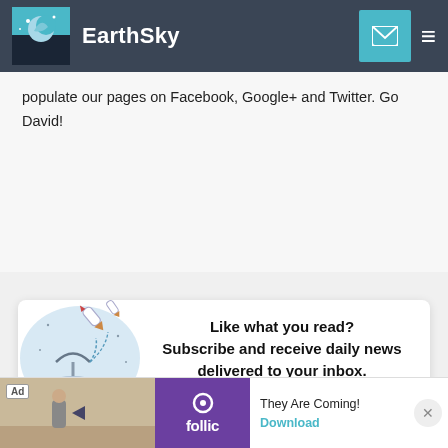EarthSky
populate our pages on Facebook, Google+ and Twitter. Go David!
[Figure (illustration): Circular illustration with satellites and signal lines on a light blue background]
Like what you read? Subscribe and receive daily news delivered to your inbox.
Email Address
Subscribe
Ad   They Are Coming!   Download   rollic